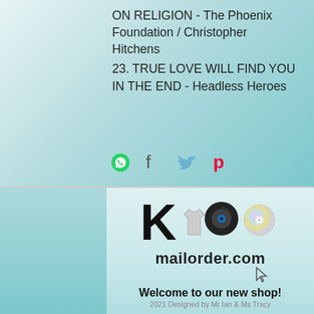ON RELIGION - The Phoenix Foundation / Christopher Hitchens
23. TRUE LOVE WILL FIND YOU IN THE END - Headless Heroes
[Figure (infographic): Social sharing icons: WhatsApp (green circle), Facebook (f), Twitter (bird), Pinterest (P)]
[Figure (logo): K100 mailorder.com logo with vinyl record, CD, and t-shirt imagery]
Welcome to our new shop!
2021 Designed by Mr Ian & Ms Tracy